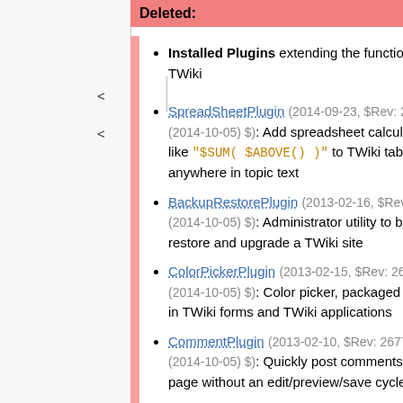Deleted:
Installed Plugins extending the functionality of TWiki
SpreadSheetPlugin (2014-09-23, $Rev: 28087 (2014-10-05) $): Add spreadsheet calculation like "$SUM( $ABOVE() )" to TWiki tables or anywhere in topic text
BackupRestorePlugin (2013-02-16, $Rev: 26767 (2014-10-05) $): Administrator utility to backup, restore and upgrade a TWiki site
ColorPickerPlugin (2013-02-15, $Rev: 26769 (2014-10-05) $): Color picker, packaged for use in TWiki forms and TWiki applications
CommentPlugin (2013-02-10, $Rev: 26771 (2014-10-05) $): Quickly post comments to a page without an edit/preview/save cycle